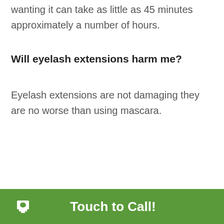wanting it can take as little as 45 minutes approximately a number of hours.
Will eyelash extensions harm me?
Eyelash extensions are not damaging they are no worse than using mascara.
Touch to Call!